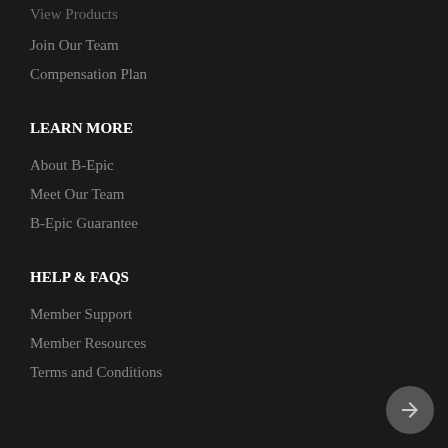View Products
Join Our Team
Compensation Plan
LEARN MORE
About B-Epic
Meet Our Team
B-Epic Guarantee
HELP & FAQS
Member Support
Member Resources
Terms and Conditions